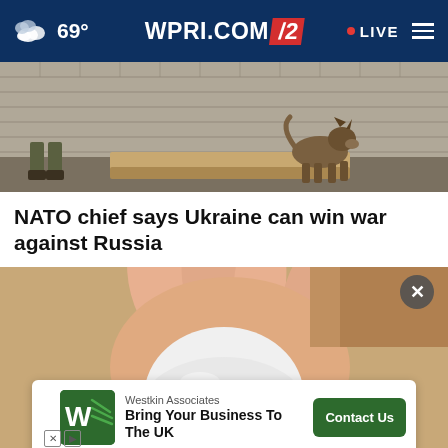69° WPRI.COM/2 • LIVE
[Figure (photo): Military/soldier scene with a dog against a brick wall background]
NATO chief says Ukraine can win war against Russia
[Figure (photo): Hand holding a white security camera device, with an advertisement overlay for Westkin Associates: Bring Your Business To The UK — Contact Us button]
Westkin Associates
Bring Your Business To The UK
Contact Us